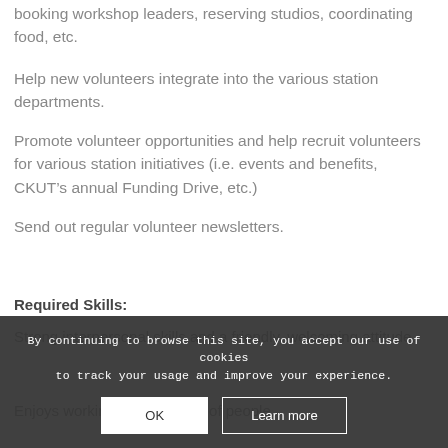booking workshop leaders, reserving studios, coordinating food, etc.
Help new volunteers integrate into the various station departments.
Promote volunteer opportunities and help recruit volunteers for various station initiatives (i.e. events and benefits, CKUT’s annual Funding Drive, etc.)
Send out regular volunteer newsletters.
Required Skills:
Strong interpersonal skills and a friendly, welcoming attitude.
Enjoys working with diversity of people.
By continuing to browse this site, you accept our use of cookies to track your usage and improve your experience.